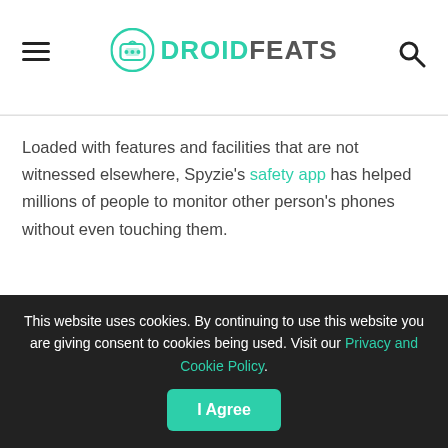DROIDFEATS
Loaded with features and facilities that are not witnessed elsewhere, Spyzie's safety app has helped millions of people to monitor other person's phones without even touching them.
This website uses cookies. By continuing to use this website you are giving consent to cookies being used. Visit our Privacy and Cookie Policy. I Agree